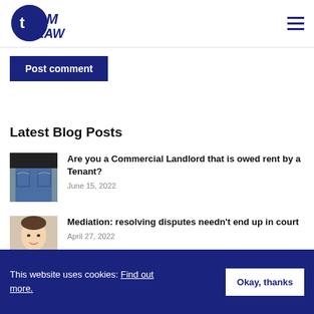[Figure (logo): Tim Law logo — circular blue icon with 'tim' text and 'LAW' in bold blue letters]
Post comment
Latest Blog Posts
[Figure (photo): Photo of person in jeans with empty pockets, representing commercial landlord owed rent]
Are you a Commercial Landlord that is owed rent by a Tenant?
June 15, 2022
[Figure (photo): Photo of a man's face with Tim Law logo overlay]
Mediation: resolving disputes needn’t end up in court
April 27, 2022
This website uses cookies: Find out more.